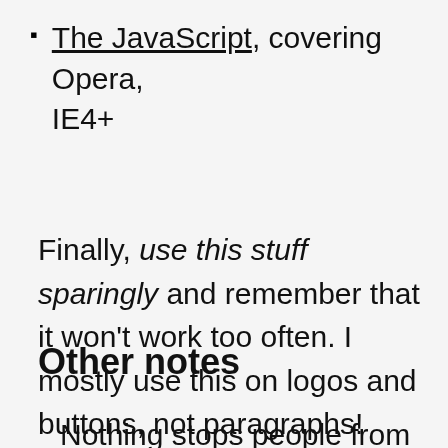The JavaScript, covering Opera, IE4+
Finally, use this stuff sparingly and remember that it won't work too often. I mostly use this on logos and buttons, not paragraphs!
Other notes
Nothing stops people from